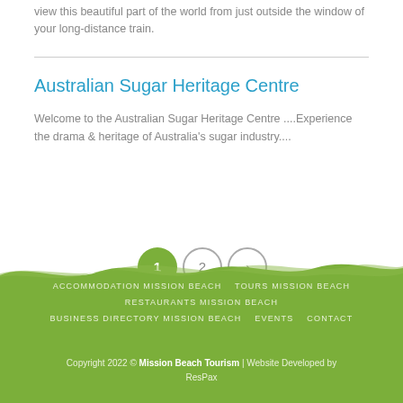view this beautiful part of the world from just outside the window of your long-distance train.
Australian Sugar Heritage Centre
Welcome to the Australian Sugar Heritage Centre ....Experience the drama & heritage of Australia's sugar industry....
[Figure (other): Pagination controls: page 1 (active, green circle), page 2 (grey circle), next arrow (grey circle)]
ACCOMMODATION MISSION BEACH   TOURS MISSION BEACH   RESTAURANTS MISSION BEACH   BUSINESS DIRECTORY MISSION BEACH   EVENTS   CONTACT
Copyright 2022 © Mission Beach Tourism | Website Developed by ResPax